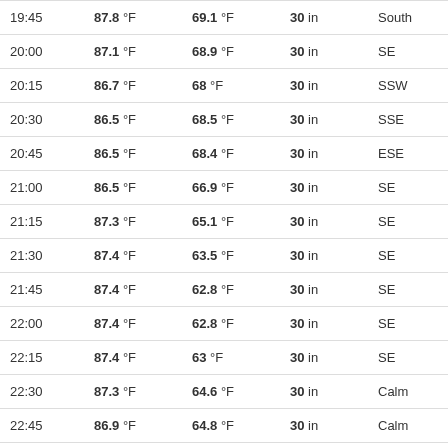| Time | Temp | Dew Point | Pressure | Wind Dir | Wind Speed |
| --- | --- | --- | --- | --- | --- |
| 19:45 | 87.8 °F | 69.1 °F | 30 in | South | 3 mp |
| 20:00 | 87.1 °F | 68.9 °F | 30 in | SE | 1 mp |
| 20:15 | 86.7 °F | 68 °F | 30 in | SSW | 2 mp |
| 20:30 | 86.5 °F | 68.5 °F | 30 in | SSE | 1 mp |
| 20:45 | 86.5 °F | 68.4 °F | 30 in | ESE | 2 mp |
| 21:00 | 86.5 °F | 66.9 °F | 30 in | SE | 1 mp |
| 21:15 | 87.3 °F | 65.1 °F | 30 in | SE | 2 mp |
| 21:30 | 87.4 °F | 63.5 °F | 30 in | SE | 1 mp |
| 21:45 | 87.4 °F | 62.8 °F | 30 in | SE | 1 mp |
| 22:00 | 87.4 °F | 62.8 °F | 30 in | SE | 1 mp |
| 22:15 | 87.4 °F | 63 °F | 30 in | SE | 1 mp |
| 22:30 | 87.3 °F | 64.6 °F | 30 in | Calm |  |
| 22:45 | 86.9 °F | 64.8 °F | 30 in | Calm |  |
| 23:00 | 86.5 °F | 64.6 °F | 30 in | SE | 2 mp |